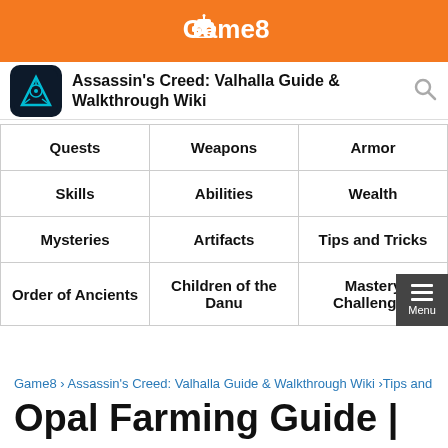Game8
Assassin's Creed: Valhalla Guide & Walkthrough Wiki
| Quests | Weapons | Armor |
| --- | --- | --- |
| Skills | Abilities | Wealth |
| Mysteries | Artifacts | Tips and Tricks |
| Order of Ancients | Children of the Danu | Mastery Challenges |
Game8 › Assassin's Creed: Valhalla Guide & Walkthrough Wiki › Tips and
Opal Farming Guide |